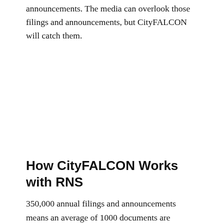announcements. The media can overlook those filings and announcements, but CityFALCON will catch them.
How CityFALCON Works with RNS
350,000 annual filings and announcements means an average of 1000 documents are published every day through the RNS, both on its web platform and via the API. Of course, no one will be able to read and digest all that information.